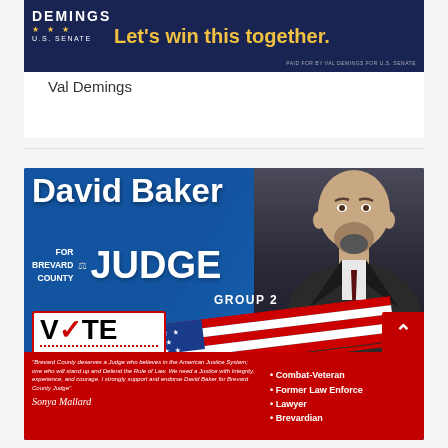[Figure (photo): Val Demings U.S. Senate campaign banner ad on dark navy background with text 'DEMINGS U.S. SENATE' and 'Let's win this together.' in gold/yellow. Paid for by Val Demings for U.S. Senate.]
Val Demings
[Figure (photo): David Baker for Brevard County Judge Group 2 campaign ad on blue background. Features photo of bald man with beard in suit, 'VOTE AUGUST 23, 2022' box, American flag ribbon, and red bottom section with quote from Sonya Mallard and bullet points: Combat-Veteran, Former Law Enforcement, Lawyer, Brevardian.]